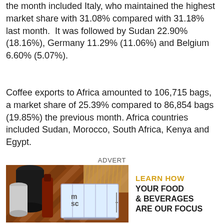the month included Italy, who maintained the highest market share with 31.08% compared with 31.18% last month.  It was followed by Sudan 22.90% (18.16%), Germany 11.29% (11.06%) and Belgium 6.60% (5.07%).
Coffee exports to Africa amounted to 106,715 bags, a market share of 25.39% compared to 86,854 bags (19.85%) the previous month. Africa countries included Sudan, Morocco, South Africa, Kenya and Egypt.
ADVERT
[Figure (illustration): Advertisement image showing food products (cans, pasta, sauces, grains) on left with an MSC shipping container, and text 'LEARN HOW YOUR FOOD & BEVERAGES ARE OUR FOCUS' on the right.]